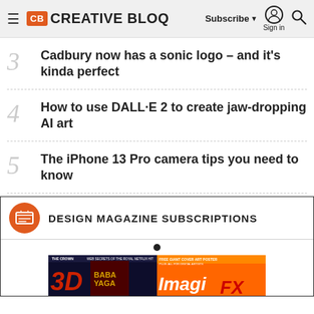CB CREATIVE BLOQ | Subscribe | Sign in
3 Cadbury now has a sonic logo – and it's kinda perfect
4 How to use DALL·E 2 to create jaw-dropping AI art
5 The iPhone 13 Pro camera tips you need to know
DESIGN MAGAZINE SUBSCRIPTIONS
[Figure (photo): Magazine subscription carousel showing 3D World and ImagineFX magazine covers]